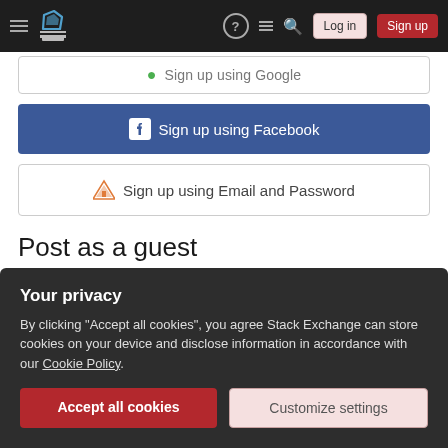Stack Exchange navigation bar with Log in and Sign up buttons
[Figure (screenshot): Partially visible 'Sign up using Google' button with Google icon]
Sign up using Facebook
Sign up using Email and Password
Post as a guest
Name
Email
Required, but never shown
Your privacy
By clicking “Accept all cookies”, you agree Stack Exchange can store cookies on your device and disclose information in accordance with our Cookie Policy.
Accept all cookies
Customize settings